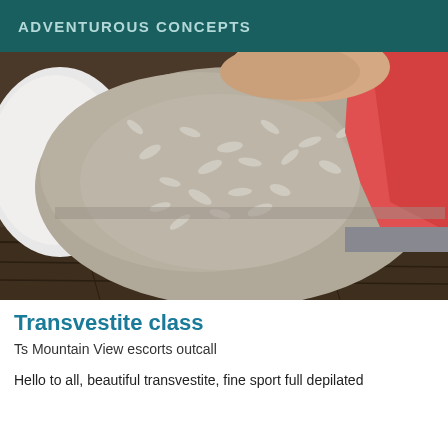ADVENTUROUS CONCEPTS
[Figure (photo): Close-up photo of a bed with a grey patterned duvet/comforter with white leaf motifs, white pillow, red accent blanket or pillow partially visible on the right side, and a dark hardwood floor visible at the bottom.]
Transvestite class
Ts Mountain View escorts outcall
Hello to all, beautiful transvestite, fine sport full depilated